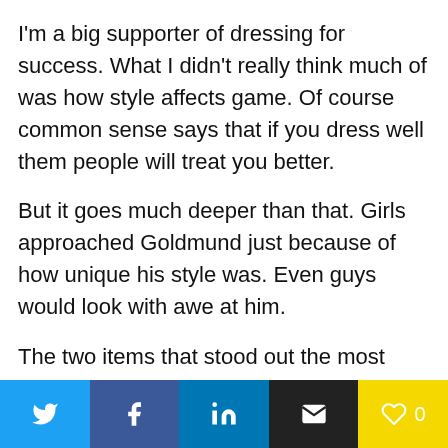I'm a big supporter of dressing for success. What I didn't really think much of was how style affects game. Of course common sense says that if you dress well them people will treat you better.
But it goes much deeper than that. Girls approached Goldmund just because of how unique his style was. Even guys would look with awe at him.
The two items that stood out the most were his hat and necklace. People would call him Indiana Jones and girls wanted to know more about his
[Figure (other): Social share bar with Twitter, Facebook, LinkedIn, Email, and Like (heart with count 0) buttons]